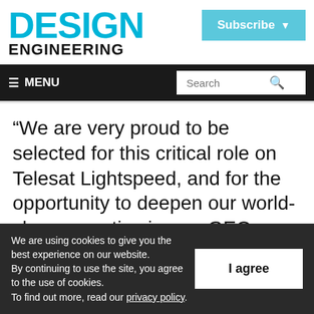DESIGN ENGINEERING
Subscribe
≡ MENU  Search
“We are very proud to be selected for this critical role on Telesat Lightspeed, and for the opportunity to deepen our world-class expertise in non-GEO satellite constellations as the sector undergoes a transformation
We are using cookies to give you the best experience on our website.
By continuing to use the site, you agree to the use of cookies.
To find out more, read our privacy policy.
I agree